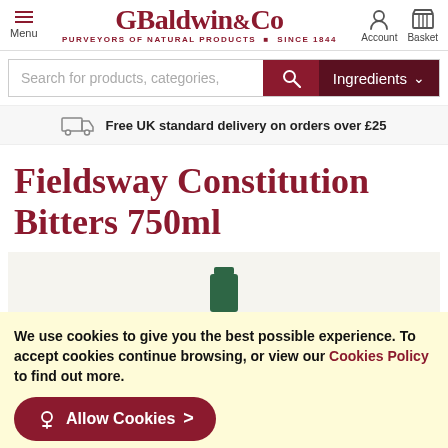G Baldwin & Co — PURVEYORS OF NATURAL PRODUCTS SINCE 1844 — Menu / Account / Basket
Search for products, categories,
Ingredients
Free UK standard delivery on orders over £25
Fieldsway Constitution Bitters 750ml
[Figure (photo): Product image area showing top of a dark green bottle against a light beige background]
We use cookies to give you the best possible experience. To accept cookies continue browsing, or view our Cookies Policy to find out more.
Allow Cookies